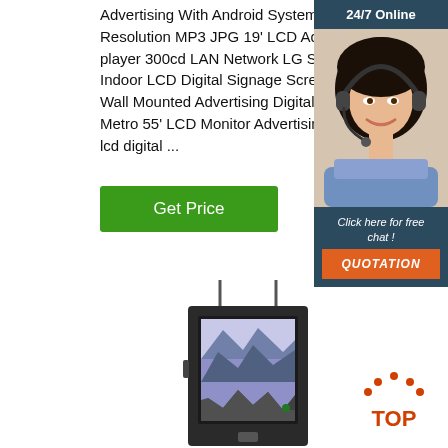Advertising With Android System High Resolution MP3 JPG 19' LCD Advertising player 300cd LAN Network LG Samsung Indoor LCD Digital Signage Screen Display Wall Mounted Advertising Digital Signage Metro 55' LCD Monitor Advertising player, lcd digital ...
Get Price
[Figure (screenshot): 24/7 Online chat widget with female customer service agent wearing headset, with 'Click here for free chat!' text and orange QUOTATION button on dark blue background]
[Figure (photo): Black wall-mounted digital signage LCD display device with antenna, showing landscape mountain photo on screen]
[Figure (other): Orange and dark red TOP button icon with dots arranged in arc above the word TOP]